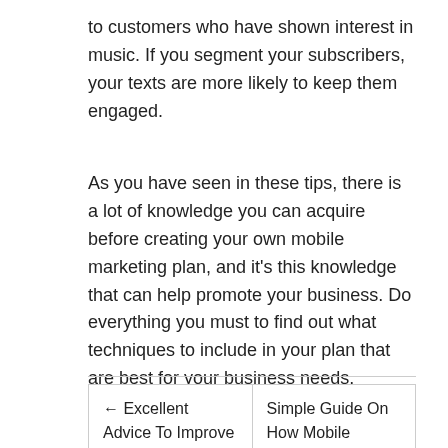to customers who have shown interest in music. If you segment your subscribers, your texts are more likely to keep them engaged.
As you have seen in these tips, there is a lot of knowledge you can acquire before creating your own mobile marketing plan, and it's this knowledge that can help promote your business. Do everything you must to find out what techniques to include in your plan that are best for your business needs.
← Excellent Advice To Improve Your Mobile Marketing
Simple Guide On How Mobile Marketing Works 6 →